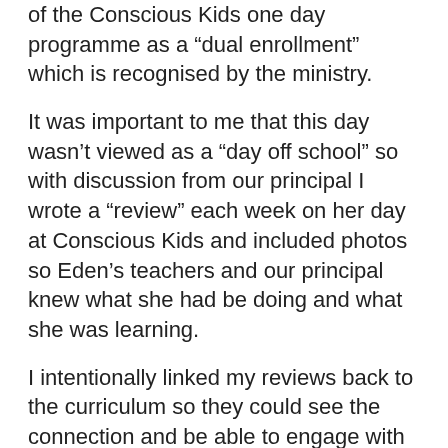of the Conscious Kids one day programme as a “dual enrollment” which is recognised by the ministry.
It was important to me that this day wasn’t viewed as a “day off school” so with discussion from our principal I wrote a “review” each week on her day at Conscious Kids and included photos so Eden’s teachers and our principal knew what she had be doing and what she was learning.
I intentionally linked my reviews back to the curriculum so they could see the connection and be able to engage with her about her day.